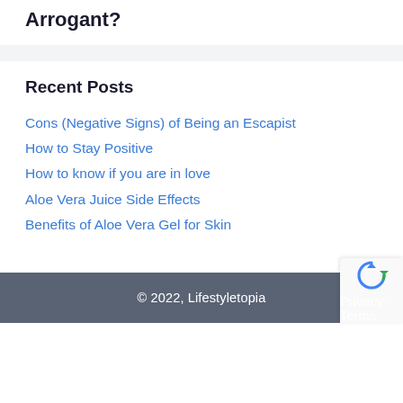Arrogant?
Recent Posts
Cons (Negative Signs) of Being an Escapist
How to Stay Positive
How to know if you are in love
Aloe Vera Juice Side Effects
Benefits of Aloe Vera Gel for Skin
© 2022, Lifestyletopia